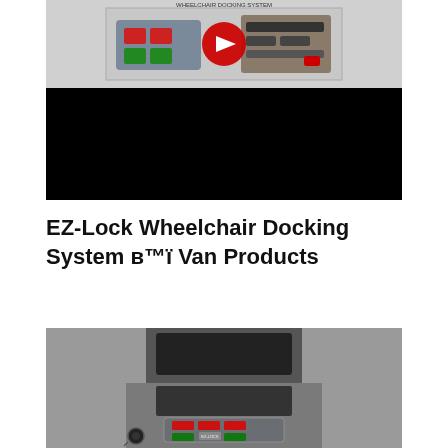[Figure (screenshot): YouTube video embed showing EZ-Lock Wheelchair Docking System product thumbnail at top with play button, and black video player area below]
EZ-Lock Wheelchair Docking System в™ï Van Products
[Figure (photo): Photo of van interior console showing EZ-Lock controller with red and green buttons installed in vehicle dashboard area]